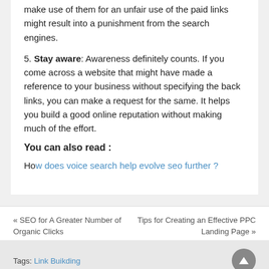make use of them for an unfair use of the paid links might result into a punishment from the search engines.
5. Stay aware: Awareness definitely counts. If you come across a website that might have made a reference to your business without specifying the back links, you can make a request for the same. It helps you build a good online reputation without making much of the effort.
You can also read :
How does voice search help evolve seo further ?
« SEO for A Greater Number of Organic Clicks
Tips for Creating an Effective PPC Landing Page »
Tags: Link Buikding